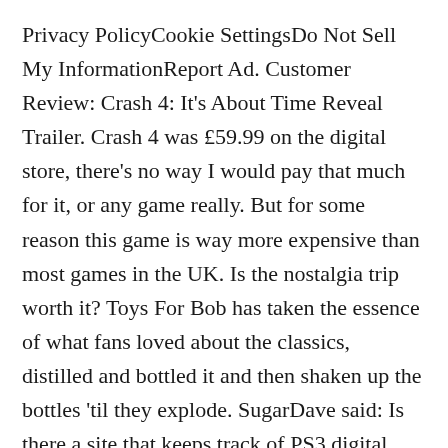Privacy PolicyCookie SettingsDo Not Sell My InformationReport Ad. Customer Review: Crash 4: It's About Time Reveal Trailer. Crash 4 was £59.99 on the digital store, there's no way I would pay that much for it, or any game really. But for some reason this game is way more expensive than most games in the UK. Is the nostalgia trip worth it? Toys For Bob has taken the essence of what fans loved about the classics, distilled and bottled it and then shaken up the bottles 'til they explode. SugarDave said: Is there a site that keeps track of PS3 digital sales and discounts now that they've removed the platform from the web store? Onsite Associates Program . Crash 4 introduces the Quantum Masks, the power of the past group of